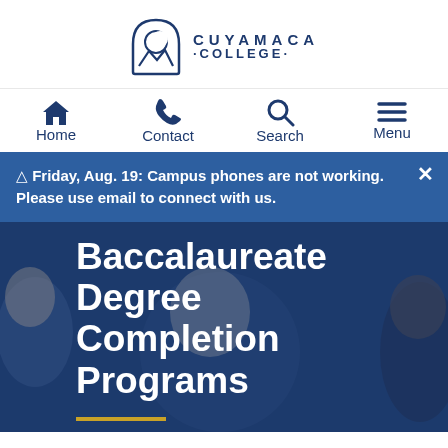[Figure (logo): Cuyamaca College logo with mountain/moon icon and text CUYAMACA COLLEGE]
Home  Contact  Search  Menu
⚠ Friday, Aug. 19: Campus phones are not working. Please use email to connect with us.
Baccalaureate Degree Completion Programs
[Figure (photo): Background photo of students studying, overlaid with blue tint]